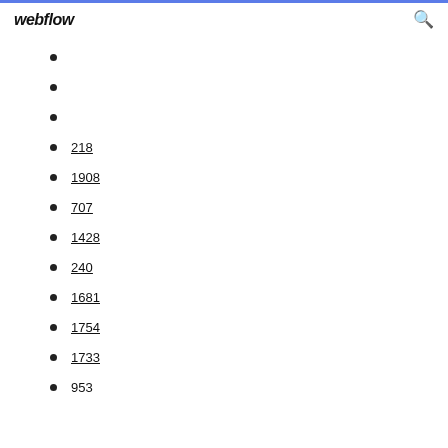webflow
218
1908
707
1428
240
1681
1754
1733
953